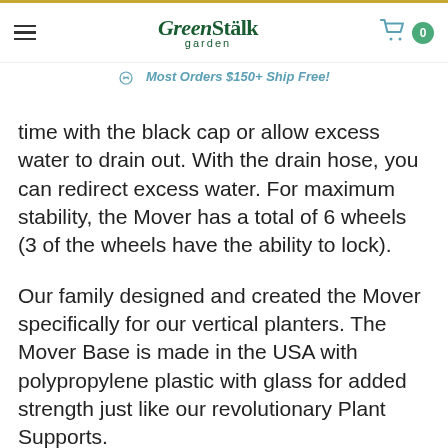GreenStalk garden
Most Orders $150+ Ship Free!
time with the black cap or allow excess water to drain out. With the drain hose, you can redirect excess water. For maximum stability, the Mover has a total of 6 wheels (3 of the wheels have the ability to lock).
Our family designed and created the Mover specifically for our vertical planters. The Mover Base is made in the USA with polypropylene plastic with glass for added strength just like our revolutionary Plant Supports.
Reenter site with another device. The M...